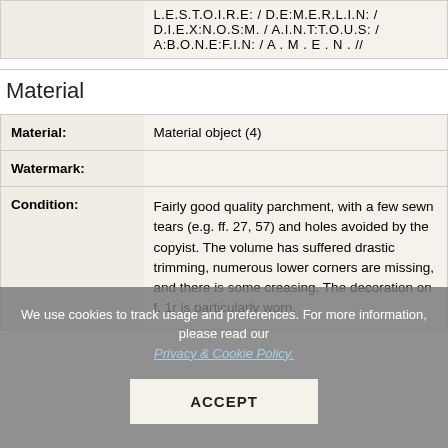|  | L.E.S.T.O.I.R.E: / D.E:M.E.R.L.I.N: / D.I.E.X:N.O.S:M. / A.I.N.T:T.O.U.S: / A:B.O.N.E:F.I.N: / A . M . E . N . // |
Material
|  |  |
| --- | --- |
| Material: | Material object (4) |
| Watermark: |  |
| Condition: | Fairly good quality parchment, with a few sewn tears (e.g. ff. 27, 57) and holes avoided by the copyist. The volume has suffered drastic trimming, numerous lower corners are missing, and there is some creasing. The decoration on f. 1r is particularly worn. |
We use cookies to track usage and preferences. For more information, please read our Privacy & Cookie Policy.